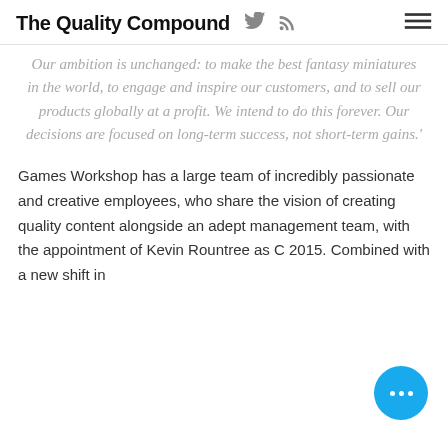The Quality Compound
Our ambition is unchanged: to make the best fantasy miniatures in the world, to engage and inspire our customers, and to sell our products globally at a profit. We intend to do this forever. Our decisions are focused on long-term success, not short-term gains.'
Games Workshop has a large team of incredibly passionate and creative employees, who share the vision of creating quality content alongside an adept management team, with the appointment of Kevin Rountree as C 2015. Combined with a new shift in